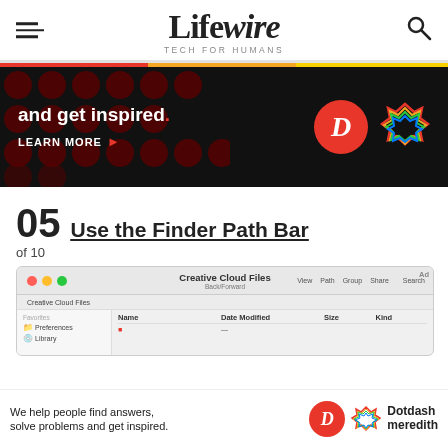Lifewire — TECH FOR HUMANS
[Figure (photo): Advertisement banner with dark background showing red dots pattern, text 'and get inspired.' with LEARN MORE button, D logo and colorful knot logo]
05 Use the Finder Path Bar
of 10
[Figure (screenshot): Mac Finder window showing Creative Cloud Files with sidebar items Preferences and Library, toolbar with Back/Forward, View, Path, Group, Share, Search controls]
[Figure (photo): Bottom advertisement: We help people find answers, solve problems and get inspired. With D logo and Dotdash meredith branding]